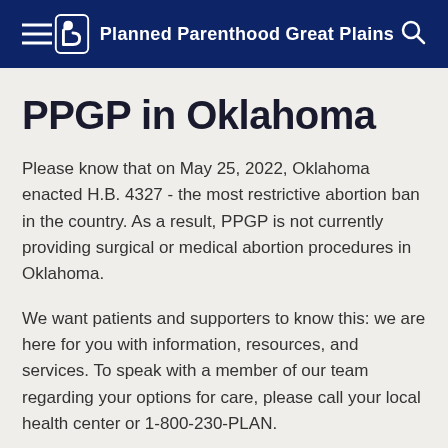Planned Parenthood Great Plains
PPGP in Oklahoma
Please know that on May 25, 2022, Oklahoma enacted H.B. 4327 - the most restrictive abortion ban in the country. As a result, PPGP is not currently providing surgical or medical abortion procedures in Oklahoma.
We want patients and supporters to know this: we are here for you with information, resources, and services. To speak with a member of our team regarding your options for care, please call your local health center or 1-800-230-PLAN.
We are still scheduling, offering patient navigation